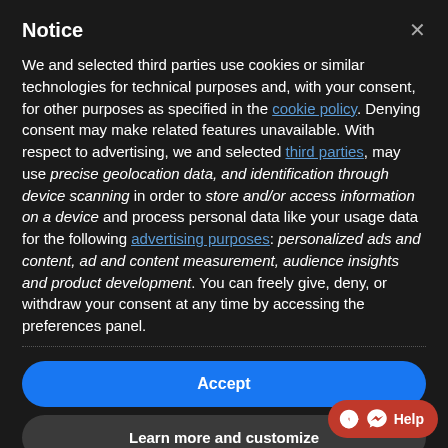Notice
We and selected third parties use cookies or similar technologies for technical purposes and, with your consent, for other purposes as specified in the cookie policy. Denying consent may make related features unavailable. With respect to advertising, we and selected third parties, may use precise geolocation data, and identification through device scanning in order to store and/or access information on a device and process personal data like your usage data for the following advertising purposes: personalized ads and content, ad and content measurement, audience insights and product development. You can freely give, deny, or withdraw your consent at any time by accessing the preferences panel.
Accept
Learn more and customize